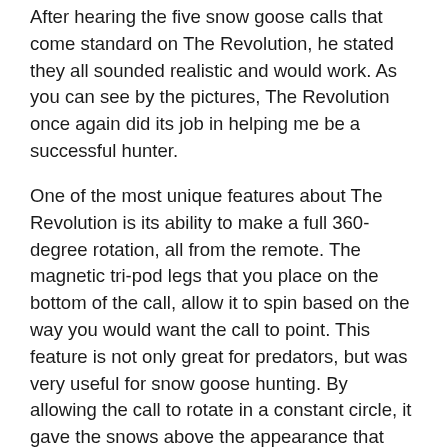After hearing the five snow goose calls that come standard on The Revolution, he stated they all sounded realistic and would work. As you can see by the pictures, The Revolution once again did its job in helping me be a successful hunter.
One of the most unique features about The Revolution is its ability to make a full 360-degree rotation, all from the remote. The magnetic tri-pod legs that you place on the bottom of the call, allow it to spin based on the way you would want the call to point. This feature is not only great for predators, but was very useful for snow goose hunting. By allowing the call to rotate in a constant circle, it gave the snows above the appearance that sounds were coming from every different direction. This is also a great feature when hunting predators. Once you place the call, say at 50 yards from your location, you can always jump up and turn the call a different direction. With a push of a button, you can rotate the call the direction you desire.